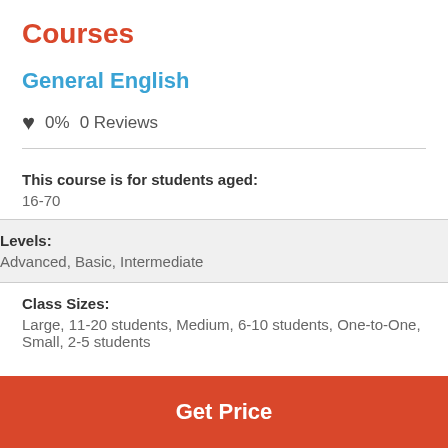Courses
General English
♥ 0%  0 Reviews
This course is for students aged:
16-70
Levels:
Advanced, Basic, Intermediate
Class Sizes:
Large, 11-20 students, Medium, 6-10 students, One-to-One, Small, 2-5 students
Get Price